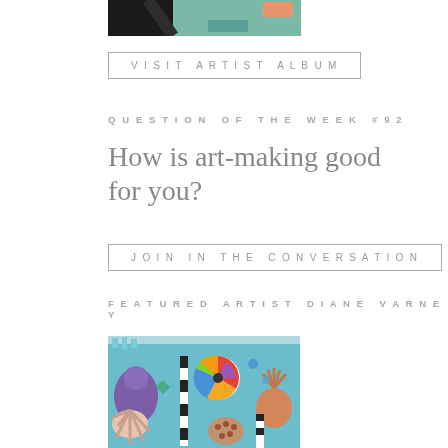[Figure (photo): Abstract painting with dark background, teal/green and orange rectangular shapes]
VISIT ARTIST ALBUM
QUESTION OF THE WEEK #92
How is art-making good for you?
JOIN IN THE CONVERSATION
FEATURED ARTIST DIANE VARNEY
[Figure (photo): Colorful folk art style painting on teal background with figures, a pinwheel/windmill, hands, and decorative patterns]